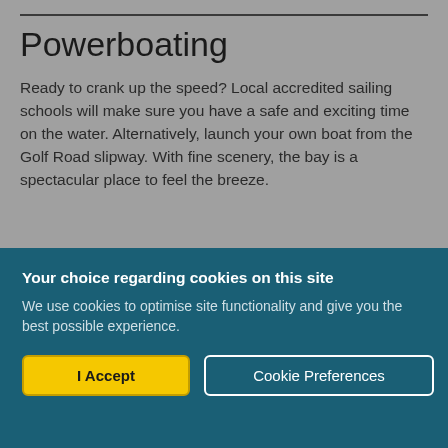Powerboating
Ready to crank up the speed? Local accredited sailing schools will make sure you have a safe and exciting time on the water. Alternatively, launch your own boat from the Golf Road slipway. With fine scenery, the bay is a spectacular place to feel the breeze.
Your choice regarding cookies on this site
We use cookies to optimise site functionality and give you the best possible experience.
I Accept | Cookie Preferences